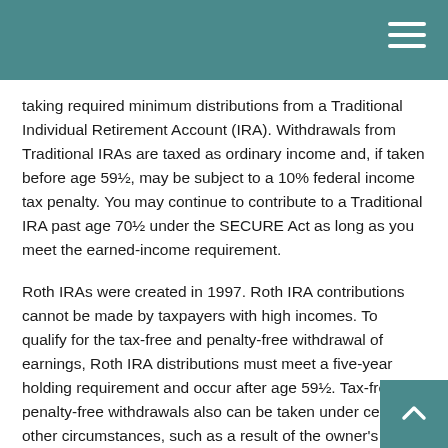taking required minimum distributions from a Traditional Individual Retirement Account (IRA). Withdrawals from Traditional IRAs are taxed as ordinary income and, if taken before age 59½, may be subject to a 10% federal income tax penalty. You may continue to contribute to a Traditional IRA past age 70½ under the SECURE Act as long as you meet the earned-income requirement.
Roth IRAs were created in 1997. Roth IRA contributions cannot be made by taxpayers with high incomes. To qualify for the tax-free and penalty-free withdrawal of earnings, Roth IRA distributions must meet a five-year holding requirement and occur after age 59½. Tax-free and penalty-free withdrawals also can be taken under certain other circumstances, such as a result of the owner's. The original Roth IRA owner is not required to take minimum annual withdrawals.